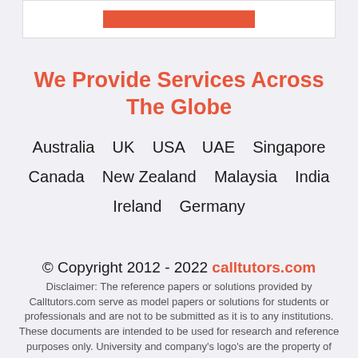[Figure (other): Orange/red button bar at the top inside a white box]
We Provide Services Across The Globe
Australia   UK   USA   UAE   Singapore
Canada   New Zealand   Malaysia   India
Ireland   Germany
© Copyright 2012 - 2022 calltutors.com
Disclaimer: The reference papers or solutions provided by Calltutors.com serve as model papers or solutions for students or professionals and are not to be submitted as it is to any institutions. These documents are intended to be used for research and reference purposes only. University and company's logo's are the property of